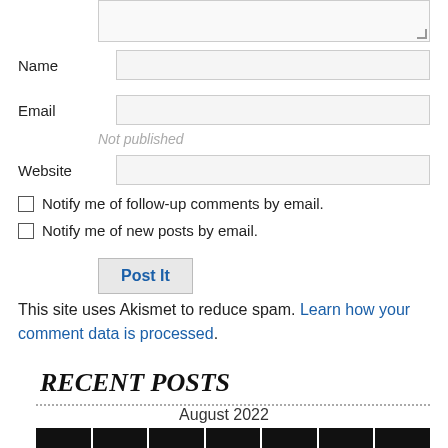[textarea top]
Name
Email
Not published
Website
Notify me of follow-up comments by email.
Notify me of new posts by email.
Post It
This site uses Akismet to reduce spam. Learn how your comment data is processed.
RECENT POSTS
August 2022